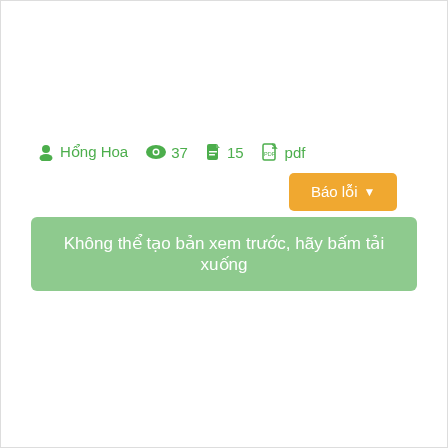Hổng Hoa  37  15  pdf
Báo lỗi
Không thể tạo bản xem trước, hãy bấm tải xuống